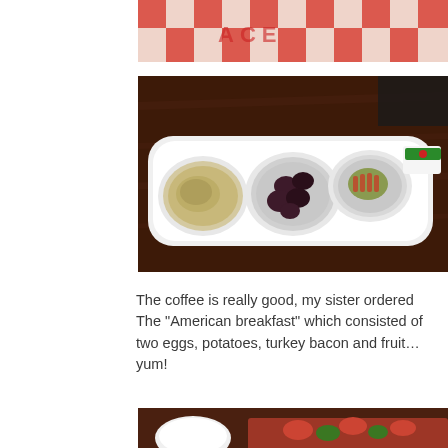[Figure (photo): Top portion of a photo showing a red and white checkered tablecloth or wrapper with food items on it]
[Figure (photo): A white rectangular serving tray with four compartments containing: hummus/feta spread, kalamata olives, a stuffed item (possibly a pepper or egg), and a condiment packet, placed on a dark wood table]
The coffee is really good, my sister ordered The "American breakfast" which consisted of two eggs, potatoes, turkey bacon and fruit…yum!
[Figure (photo): Bottom portion of a photo showing food items including what appears to be a salad with tomatoes and greens, and a cup]